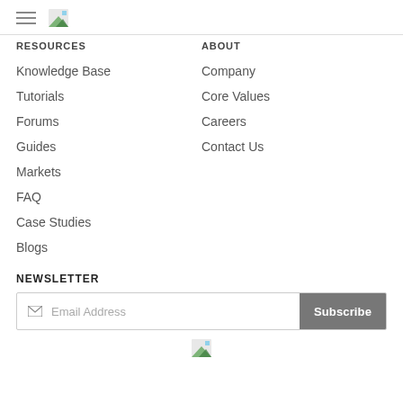hamburger menu and logo
RESOURCES
ABOUT
Knowledge Base
Company
Tutorials
Core Values
Forums
Careers
Guides
Contact Us
Markets
FAQ
Case Studies
Blogs
NEWSLETTER
Email Address  Subscribe